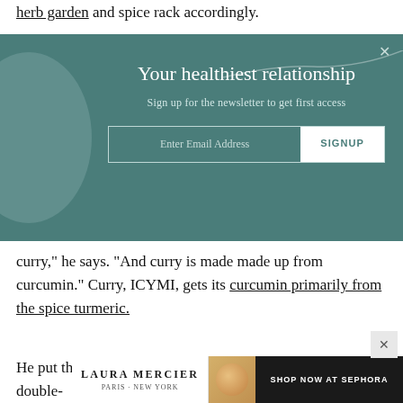herb garden and spice rack accordingly.
[Figure (other): Newsletter signup banner with teal background, decorative circle on left, close button (×). Title: 'Your healthiest relationship'. Subtitle: 'Sign up for the newsletter to get first access'. Email input field with SIGNUP button.]
curry," he says. "And curry is made made up from curcumin." Curry, ICYMI, gets its curcumin primarily from the spice turmeric.
He put this hypothesis to the test in a small double-
[Figure (other): Laura Mercier advertisement banner with brand name, Paris | New York tagline, product image, and SHOP NOW AT SEPHORA call to action button.]